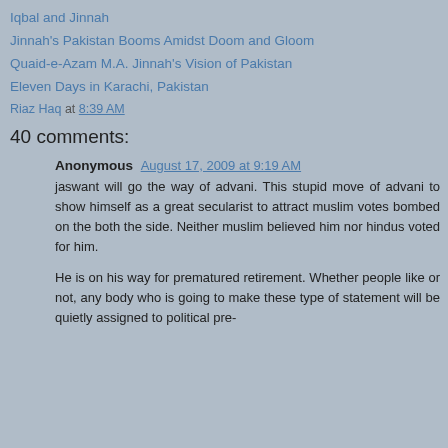Iqbal and Jinnah
Jinnah's Pakistan Booms Amidst Doom and Gloom
Quaid-e-Azam M.A. Jinnah's Vision of Pakistan
Eleven Days in Karachi, Pakistan
Riaz Haq at 8:39 AM
40 comments:
Anonymous August 17, 2009 at 9:19 AM
jaswant will go the way of advani. This stupid move of advani to show himself as a great secularist to attract muslim votes bombed on the both the side. Neither muslim believed him nor hindus voted for him.

He is on his way for prematured retirement. Whether people like or not, any body who is going to make these type of statement will be quietly assigned to political pre-